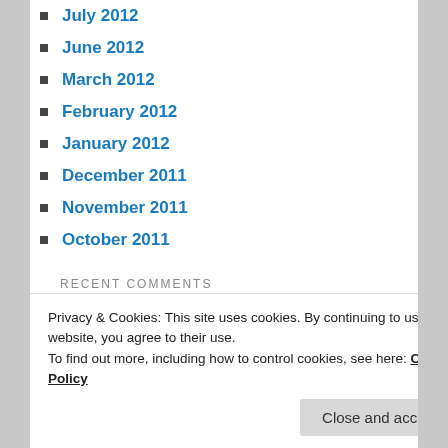July 2012
June 2012
March 2012
February 2012
January 2012
December 2011
November 2011
October 2011
RECENT COMMENTS
Becky Hargett on “What a Friend We Have i…
pmgilmer on Best Bird Pictures July 22
Privacy & Cookies: This site uses cookies. By continuing to use this website, you agree to their use. To find out more, including how to control cookies, see here: Cookie Policy